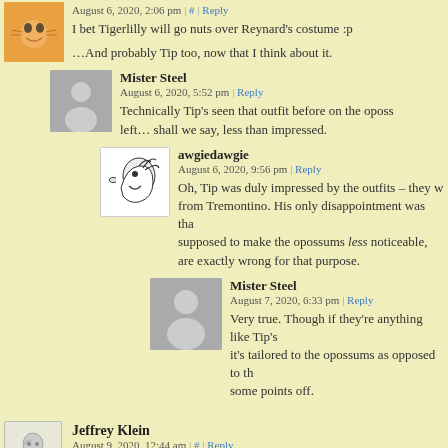August 6, 2020, 2:06 pm | # | Reply
I bet Tigerlilly will go nuts over Reynard's costume :p
…And probably Tip too, now that I think about it.
Mister Steel
August 6, 2020, 5:52 pm | Reply
Technically Tip's seen that outfit before on the opossu left… shall we say, less than impressed.
awgiedawgie
August 6, 2020, 9:56 pm | Reply
Oh, Tip was duly impressed by the outfits – they w from Tremontino. His only disappointment was tha supposed to make the opossums less noticeable, are exactly wrong for that purpose.
Mister Steel
August 7, 2020, 6:33 pm | Reply
Very true. Though if they're anything like Tip's it's tailored to the opossums as opposed to th some points off.
Jeffrey Klein
August 9, 2020, 12:44 am | # | Reply